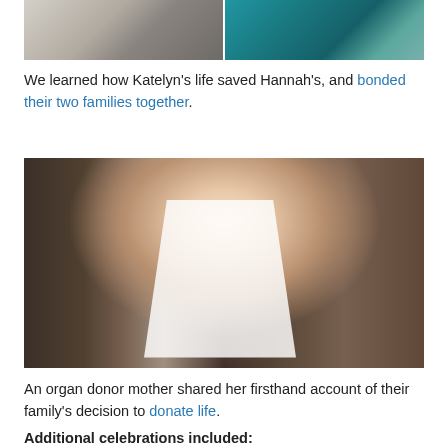[Figure (photo): Top portion of two photos side by side — left shows people in white shirts, right shows person in teal/blue hoodie]
We learned how Katelyn's life saved Hannah's, and bonded their two families together.
[Figure (photo): A smiling young boy wearing a white apron over a dark t-shirt with green logo, holding a bowl of food, standing in a kitchen]
An organ donor mother shared her firsthand account of their family's decision to donate life.
Additional celebrations included: